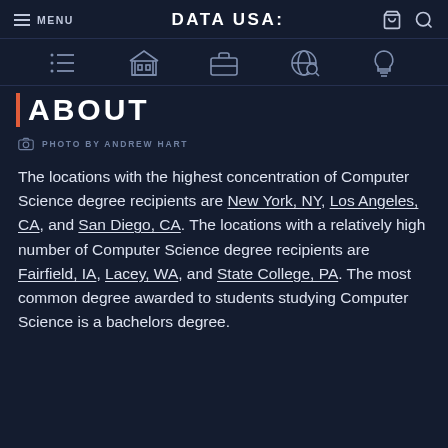≡ MENU   DATA USA:   🛒 🔍
ABOUT
PHOTO BY ANDREW HART
The locations with the highest concentration of Computer Science degree recipients are New York, NY, Los Angeles, CA, and San Diego, CA. The locations with a relatively high number of Computer Science degree recipients are Fairfield, IA, Lacey, WA, and State College, PA. The most common degree awarded to students studying Computer Science is a bachelors degree.